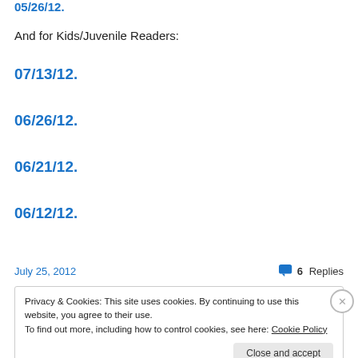05/26/12.
And for Kids/Juvenile Readers:
07/13/12.
06/26/12.
06/21/12.
06/12/12.
July 25, 2012   6 Replies
Privacy & Cookies: This site uses cookies. By continuing to use this website, you agree to their use. To find out more, including how to control cookies, see here: Cookie Policy